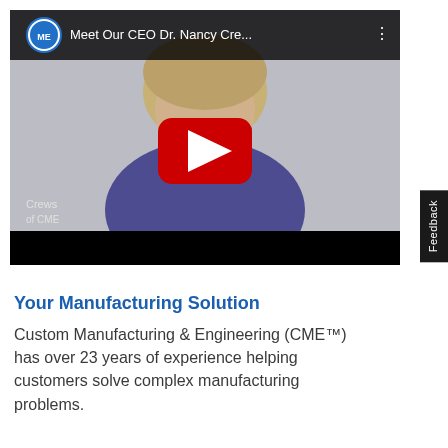[Figure (screenshot): YouTube video thumbnail showing a woman (CEO Dr. Nancy Crews of CME) with a YouTube play button overlay. The video title reads 'Meet Our CEO Dr. Nancy Cre...' with CME logo in the top-left corner. Text overlay 'Crews of CME' visible in lower-left area.]
Your Manufacturing Solution
Custom Manufacturing & Engineering (CME™) has over 23 years of experience helping customers solve complex manufacturing problems.